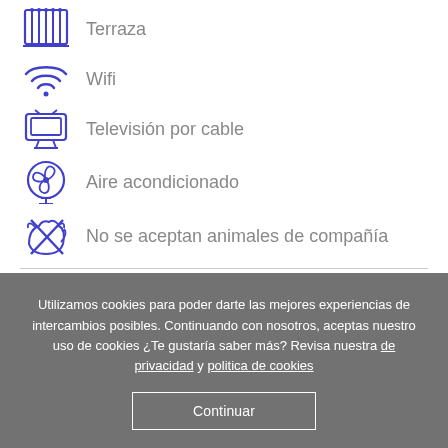Terraza
Wifi
Televisión por cable
Aire acondicionado
No se aceptan animales de compañía
Reseñas de George
Utilizamos cookies para poder darte las mejores experiencias de intercambios posibles. Continuando con nosotros, aceptas nuestro uso de cookies ¿Te gustaría saber más? Revisa nuestra de privacidad y politica de cookies